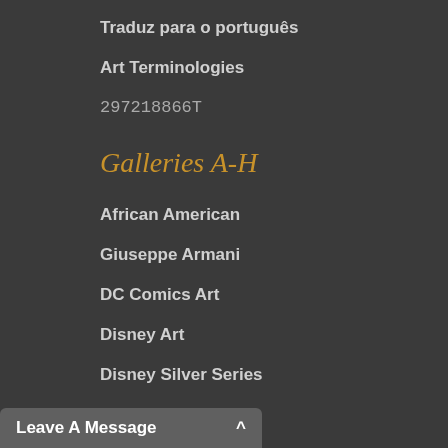Traduz para o português
Art Terminologies
297218866T
Galleries A-H
African American
Giuseppe Armani
DC Comics Art
Disney Art
Disney Silver Series
Disney Originals
Disney Treasures On Canvas
Leave A Message ^